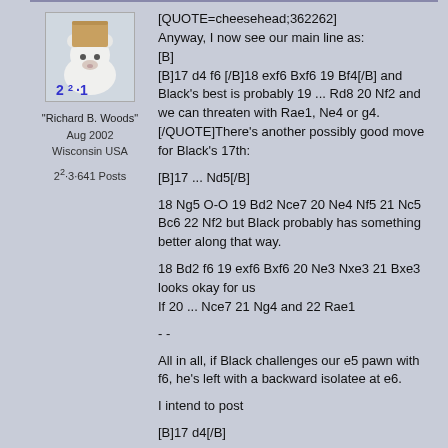[Figure (photo): Avatar image of a polar bear with a box/cheese on its head, with '2^2·1' text overlay in blue]
"Richard B. Woods"
Aug 2002
Wisconsin USA

2^2·3·641 Posts
[QUOTE=cheesehead;362262]
Anyway, I now see our main line as:
[B]
[B]17 d4 f6 [/B]18 exf6 Bxf6 19 Bf4[/B] and Black's best is probably 19 ... Rd8 20 Nf2 and we can threaten with Rae1, Ne4 or g4.
[/QUOTE]There's another possibly good move for Black's 17th:

[B]17 ... Nd5[/B]

18 Ng5 O-O 19 Bd2 Nce7 20 Ne4 Nf5 21 Nc5 Bc6 22 Nf2 but Black probably has something better along that way.

18 Bd2 f6 19 exf6 Bxf6 20 Ne3 Nxe3 21 Bxe3 looks okay for us
If 20 ... Nce7 21 Ng4 and 22 Rae1

- -

All in all, if Black challenges our e5 pawn with f6, he's left with a backward isolatee at e6.

I intend to post

[B]17 d4[/B]